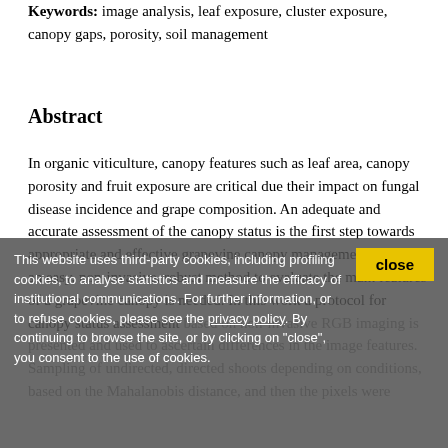Keywords: image analysis, leaf exposure, cluster exposure, canopy gaps, porosity, soil management
Abstract
In organic viticulture, canopy features such as leaf area, canopy porosity and fruit exposure are critical due their impact on fungal disease incidence and grape composition. An adequate and accurate assessment of the canopy status is the first step towards appropriate and effective grapevine canopy management, therefore an easy, non-invasive, robust method to evaluate the main features of a grapevine canopy is needed. In this work a protocol for canopy status assessment based on non-invasive RGB imaging is presented and used to ascertain differences in the image features. Sampling of undirected, directed shoots depending on conditions, based on the Mahalanobis distance, and then the pixels were...
This website uses third-party cookies, including profiling cookies, to analyse statistics and measure the efficacy of institutional communications. For further information, or to refuse cookies, please see the privacy policy. By continuing to browse the site, or by clicking on "close", you consent to the use of cookies.